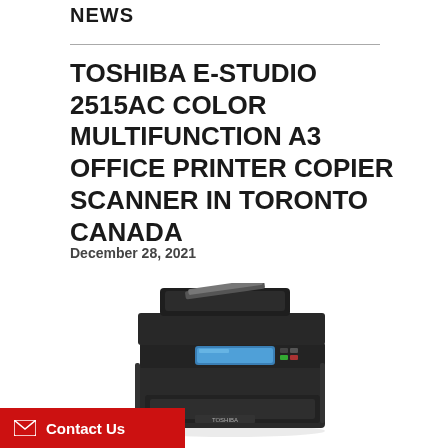NEWS
TOSHIBA E-STUDIO 2515AC COLOR MULTIFUNCTION A3 OFFICE PRINTER COPIER SCANNER IN TORONTO CANADA
December 28, 2021
[Figure (photo): Toshiba e-Studio 2515AC color multifunction A3 office printer copier scanner, black device with blue touchscreen display and document feeder on top]
Contact Us